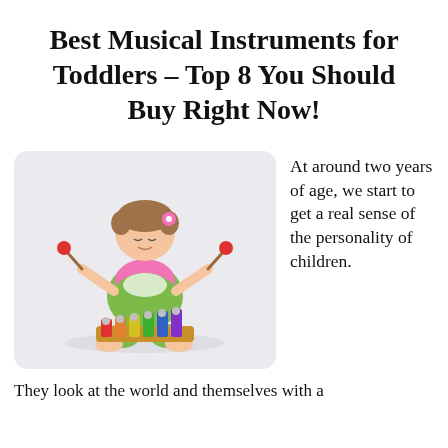Best Musical Instruments for Toddlers – Top 8 You Should Buy Right Now!
[Figure (photo): A toddler girl sitting on the floor playing a colorful xylophone with two mallets, wearing a green and pink outfit, on a white background.]
At around two years of age, we start to get a real sense of the personality of children. They look at the world and themselves with a